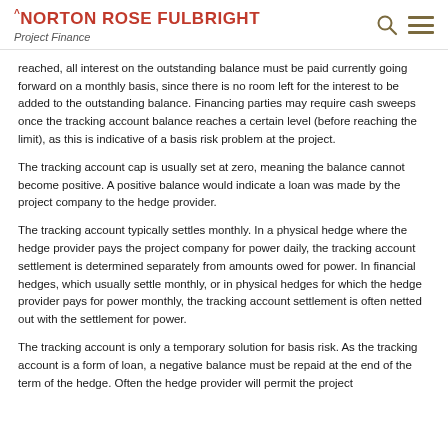NORTON ROSE FULBRIGHT – Project Finance
reached, all interest on the outstanding balance must be paid currently going forward on a monthly basis, since there is no room left for the interest to be added to the outstanding balance. Financing parties may require cash sweeps once the tracking account balance reaches a certain level (before reaching the limit), as this is indicative of a basis risk problem at the project.
The tracking account cap is usually set at zero, meaning the balance cannot become positive. A positive balance would indicate a loan was made by the project company to the hedge provider.
The tracking account typically settles monthly. In a physical hedge where the hedge provider pays the project company for power daily, the tracking account settlement is determined separately from amounts owed for power. In financial hedges, which usually settle monthly, or in physical hedges for which the hedge provider pays for power monthly, the tracking account settlement is often netted out with the settlement for power.
The tracking account is only a temporary solution for basis risk. As the tracking account is a form of loan, a negative balance must be repaid at the end of the term of the hedge. Often the hedge provider will permit the project